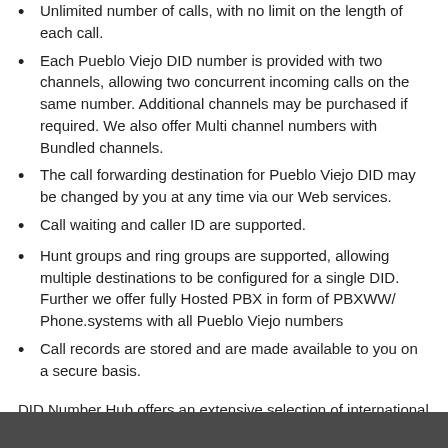Unlimited number of calls, with no limit on the length of each call.
Each Pueblo Viejo DID number is provided with two channels, allowing two concurrent incoming calls on the same number. Additional channels may be purchased if required. We also offer Multi channel numbers with Bundled channels.
The call forwarding destination for Pueblo Viejo DID may be changed by you at any time via our Web services.
Call waiting and caller ID are supported.
Hunt groups and ring groups are supported, allowing multiple destinations to be configured for a single DID. Further we offer fully Hosted PBX in form of PBXWW/ Phone.systems with all Pueblo Viejo numbers
Call records are stored and are made available to you on a secure basis.
DID Number Hub offers an extensive selection of international DID numbers. In addition, we are constantly expanding our services so as to increase the number of regions supported, as well as to increase our coverage in each region.